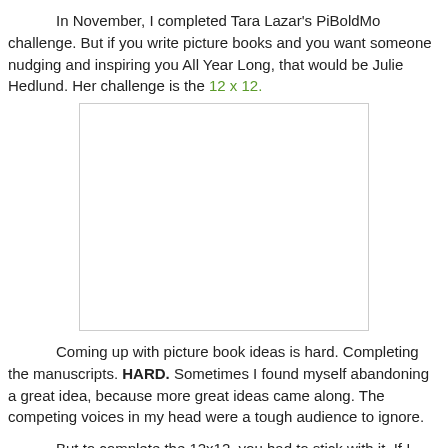In November, I completed Tara Lazar's PiBoldMo challenge. But if you write picture books and you want someone nudging and inspiring you All Year Long, that would be Julie Hedlund. Her challenge is the 12 x 12.
[Figure (photo): A blank or white image placeholder with a light gray border, approximately 290x228 pixels, centered on the page.]
Coming up with picture book ideas is hard. Completing the manuscripts. HARD. Sometimes I found myself abandoning a great idea, because more great ideas came along. The competing voices in my head were a tough audience to ignore.
But to complete the 12x12, you had to stick with it. If I